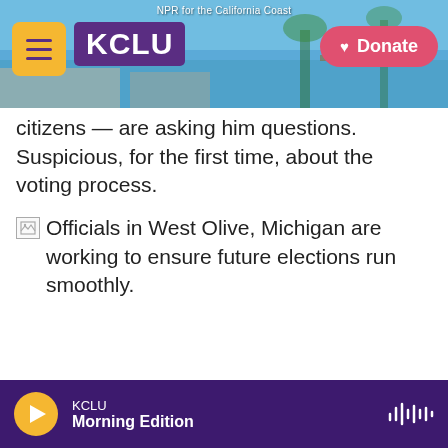NPR for the California Coast | KCLU | Donate
citizens — are asking him questions. Suspicious, for the first time, about the voting process.
[Figure (photo): Broken image placeholder followed by caption: Officials in West Olive, Michigan are working to ensure future elections run smoothly.]
Officials in West Olive, Michigan are working to ensure future elections run smoothly.
KCLU Morning Edition